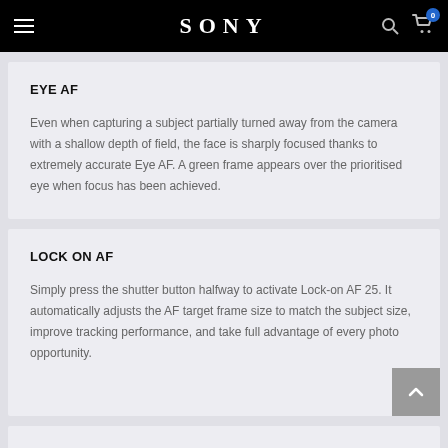SONY
EYE AF
Even when capturing a subject partially turned away from the camera with a shallow depth of field, the face is sharply focused thanks to extremely accurate Eye AF. A green frame appears over the prioritised eye when focus has been achieved.
LOCK ON AF
Simply press the shutter button halfway to activate Lock-on AF 25. It automatically adjusts the AF target frame size to match the subject size, improve tracking performance, and take full advantage of every photo opportunity.
REMOTE CAMERA CONTROL